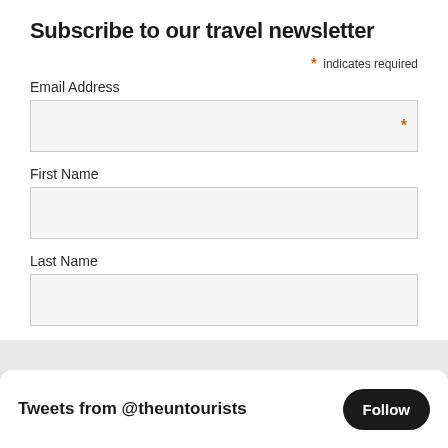Subscribe to our travel newsletter
* indicates required
Email Address
First Name
Last Name
Subscribe
Tweets from @theuntourists
Follow